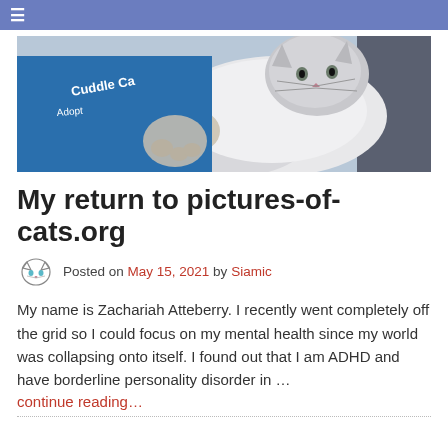≡
[Figure (photo): A fluffy white/gray cat resting on a person wearing a blue 'Cuddle Cat' t-shirt, with a dark chair in the background.]
My return to pictures-of-cats.org
Posted on May 15, 2021 by Siamic
My name is Zachariah Atteberry. I recently went completely off the grid so I could focus on my mental health since my world was collapsing onto itself. I found out that I am ADHD and have borderline personality disorder in …
continue reading…